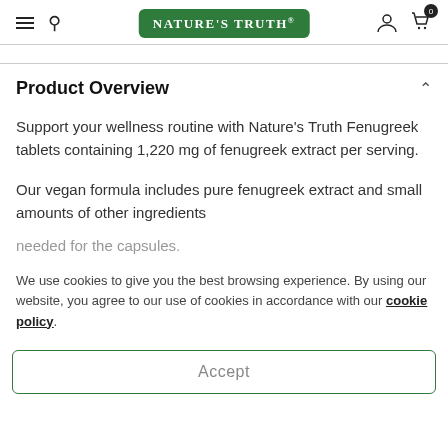Nature's Truth — navigation bar with hamburger menu, search, logo, user icon, cart (0)
Product Overview
Support your wellness routine with Nature's Truth Fenugreek tablets containing 1,220 mg of fenugreek extract per serving.
Our vegan formula includes pure fenugreek extract and small amounts of other ingredients needed for the capsules.
We use cookies to give you the best browsing experience. By using our website, you agree to our use of cookies in accordance with our cookie policy.
Accept